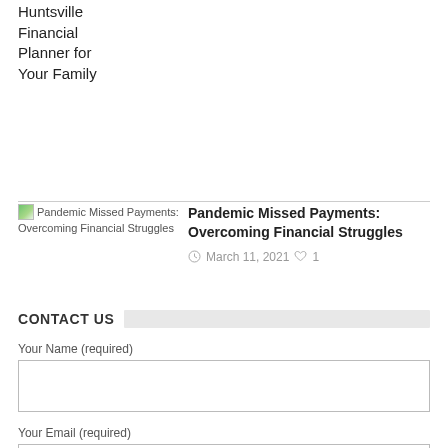Huntsville Financial Planner for Your Family
[Figure (screenshot): Thumbnail image placeholder for 'Pandemic Missed Payments: Overcoming Financial Struggles' article with alt text]
Pandemic Missed Payments: Overcoming Financial Struggles
March 11, 2021  1
CONTACT US
Your Name (required)
Your Email (required)